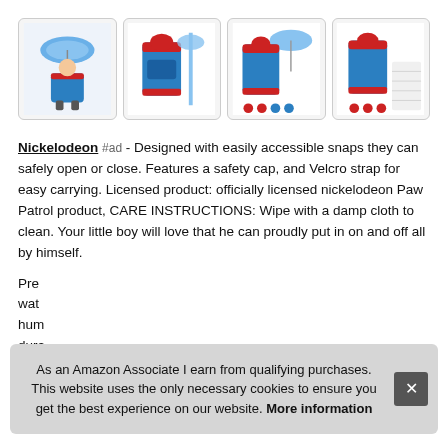[Figure (photo): Four product images of Nickelodeon Paw Patrol raincoat and umbrella set shown in a horizontal grid. Each image shows different views of a blue children's raincoat with red trim and Paw Patrol characters, plus an umbrella.]
Nickelodeon #ad - Designed with easily accessible snaps they can safely open or close. Features a safety cap, and Velcro strap for easy carrying. Licensed product: officially licensed nickelodeon Paw Patrol product, CARE INSTRUCTIONS: Wipe with a damp cloth to clean. Your little boy will love that he can proudly put in on and off all by himself.
Pre... wat... hum... dura... patrol accessories are a great gift and accessories that your
As an Amazon Associate I earn from qualifying purchases. This website uses the only necessary cookies to ensure you get the best experience on our website. More information